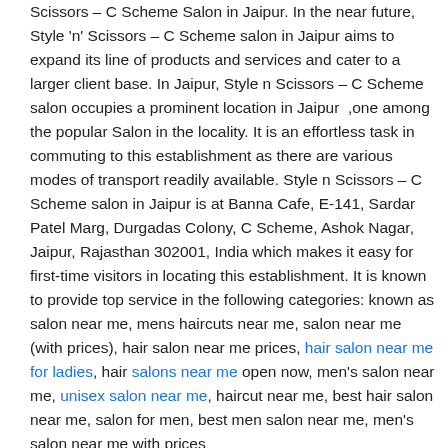Scissors – C Scheme Salon in Jaipur. In the near future, Style 'n' Scissors – C Scheme salon in Jaipur aims to expand its line of products and services and cater to a larger client base. In Jaipur, Style n Scissors – C Scheme salon occupies a prominent location in Jaipur  ,one among the popular Salon in the locality. It is an effortless task in commuting to this establishment as there are various modes of transport readily available. Style n Scissors – C Scheme salon in Jaipur is at Banna Cafe, E-141, Sardar Patel Marg, Durgadas Colony, C Scheme, Ashok Nagar, Jaipur, Rajasthan 302001, India which makes it easy for first-time visitors in locating this establishment. It is known to provide top service in the following categories: known as salon near me, mens haircuts near me, salon near me (with prices), hair salon near me prices, hair salon near me for ladies, hair salons near me open now, men's salon near me, unisex salon near me, haircut near me, best hair salon near me, salon for men, best men salon near me, men's salon near me with prices